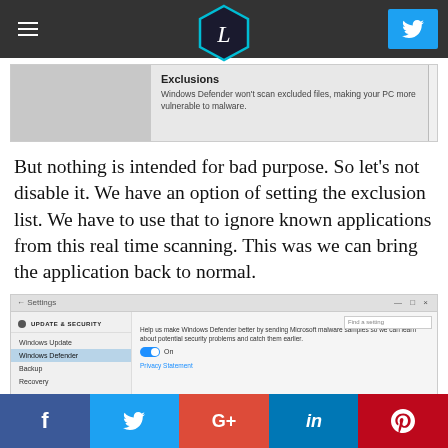Navigation header with hamburger menu, L logo, and Twitter button
[Figure (screenshot): Windows Settings screenshot showing Exclusions panel with title 'Exclusions' and text 'Windows Defender won't scan excluded files, making your PC more vulnerable to malware.']
But nothing is intended for bad purpose. So let's not disable it. We have an option of setting the exclusion list. We have to use that to ignore known applications from this real time scanning. This was we can bring the application back to normal.
[Figure (screenshot): Windows Settings screenshot showing UPDATE & SECURITY > Windows Defender settings with text 'Help us make Windows Defender better by sending Microsoft malware samples so we can learn about potential security problems and catch them earlier.' Toggle set to On. Privacy Statement link visible.]
Social share buttons: Facebook, Twitter, Google+, LinkedIn, Pinterest